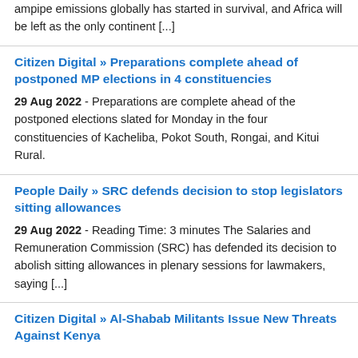…ampipe emissions globally has started in survival, and Africa will be left as the only continent […]
Citizen Digital » Preparations complete ahead of postponed MP elections in 4 constituencies
29 Aug 2022 - Preparations are complete ahead of the postponed elections slated for Monday in the four constituencies of Kacheliba, Pokot South, Rongai, and Kitui Rural.
People Daily » SRC defends decision to stop legislators sitting allowances
29 Aug 2022 - Reading Time: 3 minutes The Salaries and Remuneration Commission (SRC) has defended its decision to abolish sitting allowances in plenary sessions for lawmakers, saying […]
Citizen Digital » Al-Shabab Militants Issue New Threats Against Kenya